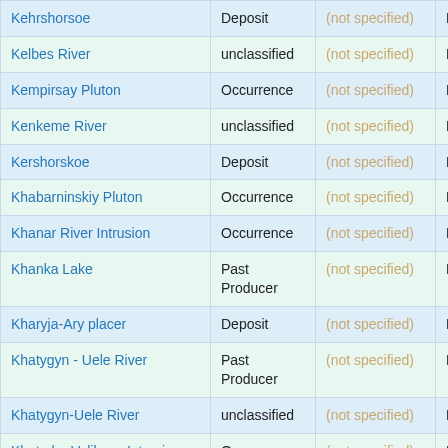| Name | Type | Status | Country |
| --- | --- | --- | --- |
| Kehrshorsoe | Deposit | (not specified) | Russ |
| Kelbes River | unclassified | (not specified) | Russ |
| Kempirsay Pluton | Occurrence | (not specified) | Russ |
| Kenkeme River | unclassified | (not specified) | Russ |
| Kershorskoe | Deposit | (not specified) | Russ |
| Khabarninskiy Pluton | Occurrence | (not specified) | Russ |
| Khanar River Intrusion | Occurrence | (not specified) | Russ |
| Khanka Lake | Past Producer | (not specified) | Russ |
| Kharyja-Ary placer | Deposit | (not specified) | Russ |
| Khatygyn - Uele River | Past Producer | (not specified) | Russ |
| Khatygyn-Uele River | unclassified | (not specified) | Russ |
| Khatyrka-Velikaya Intrusions | Occurrence | (not specified) | Russ |
| Khilkochen River System | Past Producer | (not specified) | Russ |